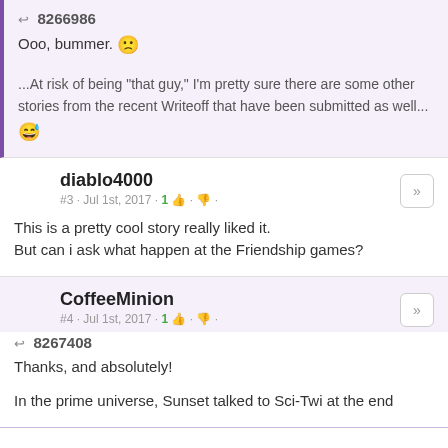↩ 8266986
Ooo, bummer. 🙁
...At risk of being "that guy," I'm pretty sure there are some other stories from the recent Writeoff that have been submitted as well... 😅
diablo4000
#3 · Jul 1st, 2017 · 1 👍 · 👎 ·
This is a pretty cool story really liked it.
But can i ask what happen at the Friendship games?
CoffeeMinion
#4 · Jul 1st, 2017 · 1 👍 · 👎 ·
↩ 8267408
Thanks, and absolutely!

In the prime universe, Sunset talked to Sci-Twi at the end